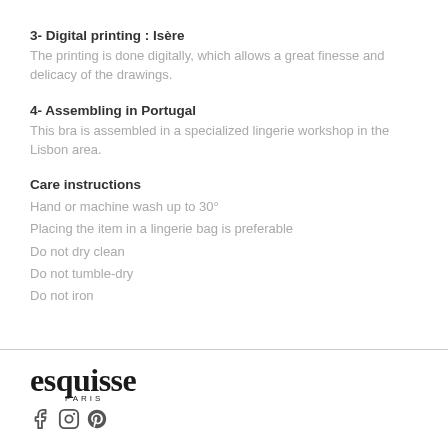3- Digital printing : Isère
The printing is done digitally, which allows a great finesse and delicacy of the drawings.
4- Assembling in Portugal
This bra is assembled in a specialized lingerie workshop in the Lisbon area.
Care instructions
Hand or machine wash up to 30°
Placing the item in a lingerie bag is preferable
Do not dry clean
Do not tumble-dry
Do not iron
[Figure (logo): Esquisse Paris logo with social media icons (Facebook, Instagram, Pinterest)]